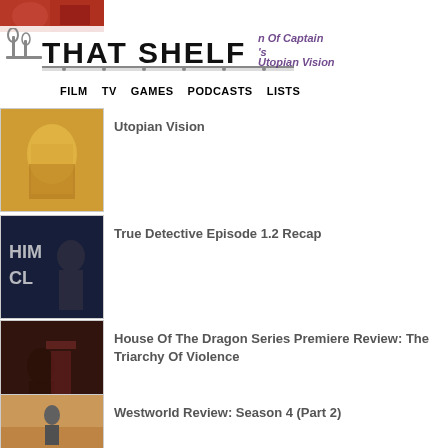[Figure (screenshot): Top partial image strip - appears to be a red-toned TV/film image]
THAT SHELF — FILM  TV  GAMES  PODCASTS  LISTS
…on Of Captain Utopian Vision …'s
True Detective Episode 1.2 Recap
House Of The Dragon Series Premiere Review: The Triarchy Of Violence
Westworld Review: Season 4 (Part 2)